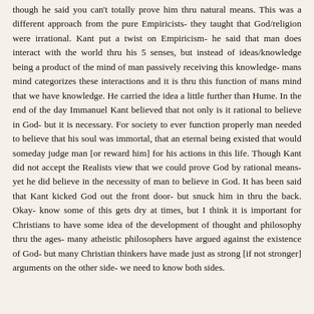though he said you can't totally prove him thru natural means. This was a different approach from the pure Empiricists- they taught that God/religion were irrational. Kant put a twist on Empiricism- he said that man does interact with the world thru his 5 senses, but instead of ideas/knowledge being a product of the mind of man passively receiving this knowledge- mans mind categorizes these interactions and it is thru this function of mans mind that we have knowledge. He carried the idea a little further than Hume. In the end of the day Immanuel Kant believed that not only is it rational to believe in God- but it is necessary. For society to ever function properly man needed to believe that his soul was immortal, that an eternal being existed that would someday judge man [or reward him] for his actions in this life. Though Kant did not accept the Realists view that we could prove God by rational means- yet he did believe in the necessity of man to believe in God. It has been said that Kant kicked God out the front door- but snuck him in thru the back. Okay- know some of this gets dry at times, but I think it is important for Christians to have some idea of the development of thought and philosophy thru the ages- many atheistic philosophers have argued against the existence of God- but many Christian thinkers have made just as strong [if not stronger] arguments on the other side- we need to know both sides.